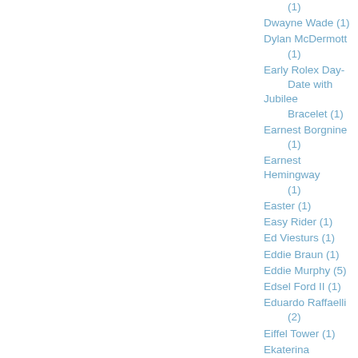(1)
Dwayne Wade (1)
Dylan McDermott (1)
Early Rolex Day-Date with Jubilee Bracelet (1)
Earnest Borgnine (1)
Earnest Hemingway (1)
Easter (1)
Easy Rider (1)
Ed Viesturs (1)
Eddie Braun (1)
Eddie Murphy (5)
Edsel Ford II (1)
Eduardo Raffaelli (2)
Eiffel Tower (1)
Ekaterina Gordeeva